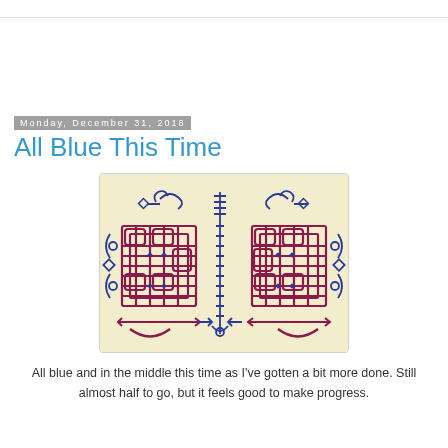Monday, December 31, 2018
All Blue This Time
[Figure (photo): Cross-stitch or embroidery pattern on yellowed fabric showing interlocking geometric lattice designs in dark red/maroon and blue/navy on a cream/ivory background. The pattern features complex interwoven rectangular loops and decorative scrollwork borders at the top and sides.]
All blue and in the middle this time as I've gotten a bit more done. Still almost half to go, but it feels good to make progress.